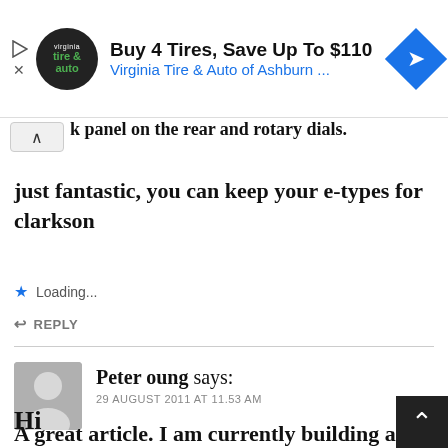[Figure (screenshot): Advertisement banner for Virginia Tire & Auto of Ashburn showing 'Buy 4 Tires, Save Up To $110' with logo and navigation icon]
k panel on the rear and rotary dials. just fantastic, you can keep your e-types for clarkson
Loading...
REPLY
Peter oung says:
29 AUGUST 2011 AT 11.53 AM
Hi
A great article. I am currently building an